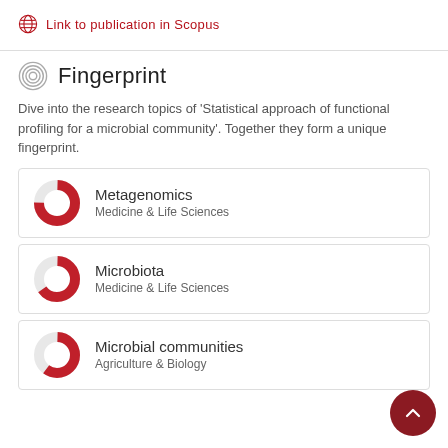Link to publication in Scopus
Fingerprint
Dive into the research topics of 'Statistical approach of functional profiling for a microbial community'. Together they form a unique fingerprint.
Metagenomics
Medicine & Life Sciences
Microbiota
Medicine & Life Sciences
Microbial communities
Agriculture & Biology